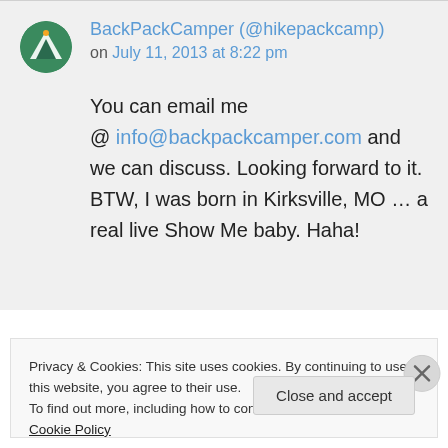BackPackCamper (@hikepackcamp) on July 11, 2013 at 8:22 pm
You can email me @ info@backpackcamper.com and we can discuss. Looking forward to it. BTW, I was born in Kirksville, MO … a real live Show Me baby. Haha!
Privacy & Cookies: This site uses cookies. By continuing to use this website, you agree to their use. To find out more, including how to control cookies, see here: Cookie Policy
Close and accept